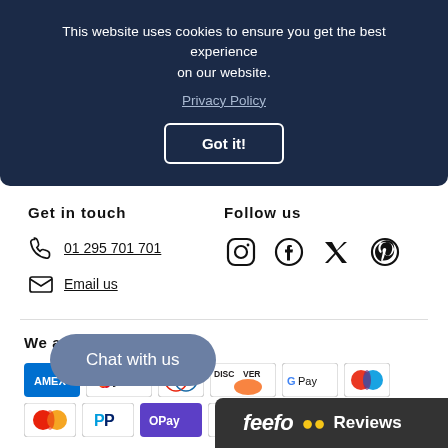This website uses cookies to ensure you get the best experience on our website. Privacy Policy
Got it!
Get in touch
01 295 701 701
Email us
Follow us
[Figure (other): Social media icons: Instagram, Facebook, Twitter, Pinterest]
We accept
[Figure (other): Payment method logos: Amex, Apple Pay, Diners Club, Discover, Google Pay, Maestro, Mastercard, PayPal, OPay, Visa]
Chat with us
feefo Reviews